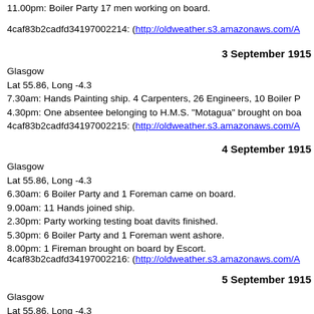11.00pm: Boiler Party 17 men working on board.
4caf83b2cadfd34197002214: (http://oldweather.s3.amazonaws.com/A...)
3 September 1915
Glasgow
Lat 55.86, Long -4.3
7.30am: Hands Painting ship. 4 Carpenters, 26 Engineers, 10 Boiler P...
4.30pm: One absentee belonging to H.M.S. "Motagua" brought on boa...
4caf83b2cadfd34197002215: (http://oldweather.s3.amazonaws.com/A...)
4 September 1915
Glasgow
Lat 55.86, Long -4.3
6.30am: 6 Boiler Party and 1 Foreman came on board.
9.00am: 11 Hands joined ship.
2.30pm: Party working testing boat davits finished.
5.30pm: 6 Boiler Party and 1 Foreman went ashore.
8.00pm: 1 Fireman brought on board by Escort.
4caf83b2cadfd34197002216: (http://oldweather.s3.amazonaws.com/A...)
5 September 1915
Glasgow
Lat 55.86, Long -4.3
8.00am: 14 Fitters and Labourers and 1 Foreman on board.
9.30am: Landed Church Parties.
1.00pm: Church Party returned.
3.30pm: 15 men belonging to Barclay & Curle left ship finished workin...